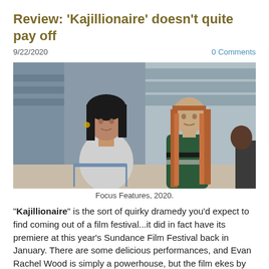Review: 'Kajillionaire' doesn't quite pay off
9/22/2020
0 Comments
[Figure (photo): Two women standing in a grocery store. One has dark hair and wears a light jacket, leaning on a shopping cart. The other has long auburn hair and wears a dark green tracksuit.]
Focus Features, 2020.
"Kajillionaire" is the sort of quirky dramedy you'd expect to find coming out of a film festival...it did in fact have its premiere at this year's Sundance Film Festival back in January. There are some delicious performances, and Evan Rachel Wood is simply a powerhouse, but the film ekes by without ever really making an impact.